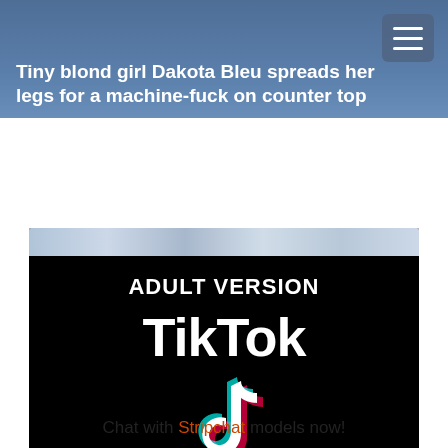Tiny blond girl Dakota Bleu spreads her legs for a machine-fuck on counter top
[Figure (advertisement): Adult TikTok advertisement banner with marble texture at top, 'ADULT VERSION' text, TikTok logo and musical note icon, 'TAP HERE' button, on black background. Caption: Ads by JuicyAds]
Ads by JuicyAds
Chat with Stripchat models now!